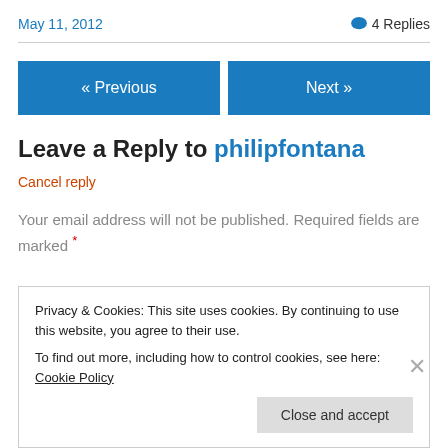May 11, 2012
4 Replies
« Previous
Next »
Leave a Reply to philipfontana
Cancel reply
Your email address will not be published. Required fields are marked *
Privacy & Cookies: This site uses cookies. By continuing to use this website, you agree to their use.
To find out more, including how to control cookies, see here: Cookie Policy
Close and accept